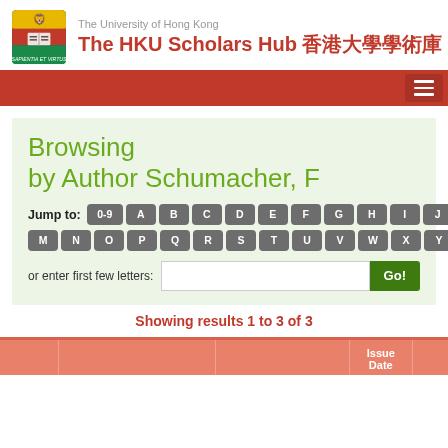The University of Hong Kong — The HKU Scholars Hub 香港大學學術庫
Browsing by Author Schumacher, F
Jump to: 0-9 A B C D E F G H I J K L M N O P Q R S T U V W X Y Z
or enter first few letters:
Showing results 1 to 3 of 3
|  |  |  | Issue Date |  |
| --- | --- | --- | --- | --- |